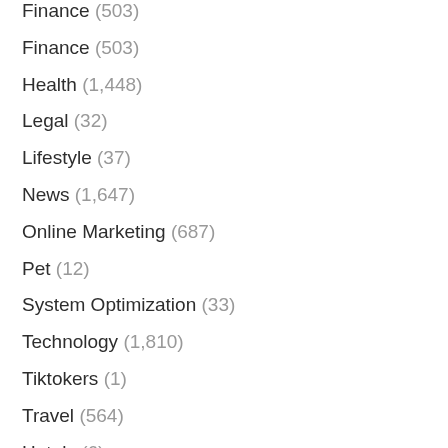Finance (503)
Health (1,448)
Legal (32)
Lifestyle (37)
News (1,647)
Online Marketing (687)
Pet (12)
System Optimization (33)
Technology (1,810)
Tiktokers (1)
Travel (564)
Hotels (6)